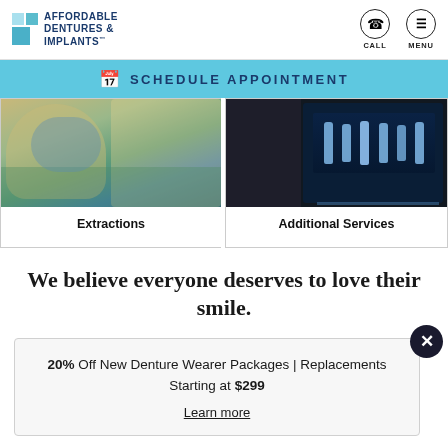[Figure (logo): Affordable Dentures & Implants logo with teal square icons and dark blue bold text]
CALL
MENU
SCHEDULE APPOINTMENT
[Figure (photo): Dental professional in yellow gown with blue gloves performing a dental procedure on a patient]
Extractions
[Figure (photo): Dental X-ray displayed on a computer screen showing teeth, with a person visible to the left]
Additional Services
We believe everyone deserves to love their smile.
20% Off New Denture Wearer Packages | Replacements Starting at $299
Learn more